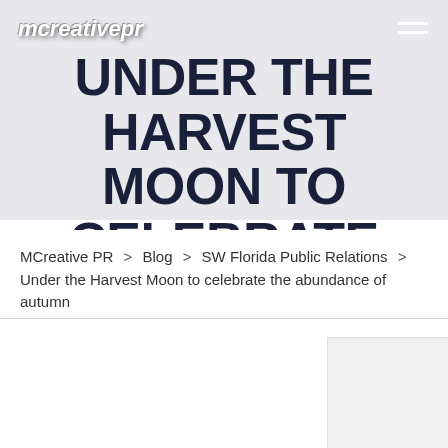mcreativepr
UNDER THE HARVEST MOON TO CELEBRATE THE ABUNDANCE OF AUTUMN
MCreative PR > Blog > SW Florida Public Relations > Under the Harvest Moon to celebrate the abundance of autumn